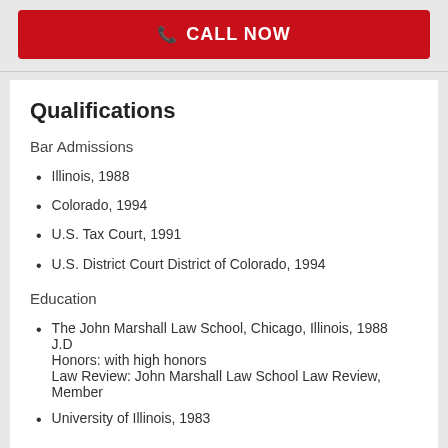[Figure (other): Red CALL NOW button with phone icon]
Qualifications
Bar Admissions
Illinois, 1988
Colorado, 1994
U.S. Tax Court, 1991
U.S. District Court District of Colorado, 1994
Education
The John Marshall Law School, Chicago, Illinois, 1988
J.D
Honors: with high honors
Law Review: John Marshall Law School Law Review, Member
University of Illinois, 1983